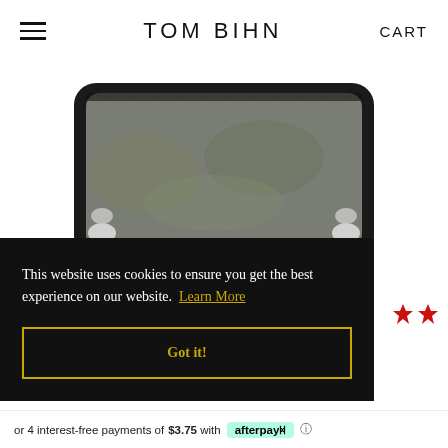TOM BIHN   CART
[Figure (photo): Close-up product photo of a clear/transparent zippered pouch with black trim, showing the interior contents through the clear material.]
This website uses cookies to ensure you get the best experience on our website. Learn More
Got it!
or 4 interest-free payments of $3.75 with afterpay